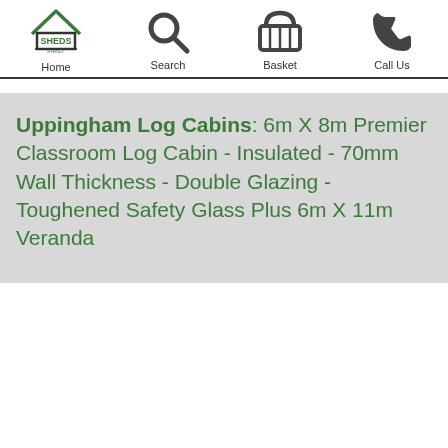Home | Search | Basket | Call Us
Uppingham Log Cabins: 6m X 8m Premier Classroom Log Cabin - Insulated - 70mm Wall Thickness - Double Glazing - Toughened Safety Glass Plus 6m X 11m Veranda